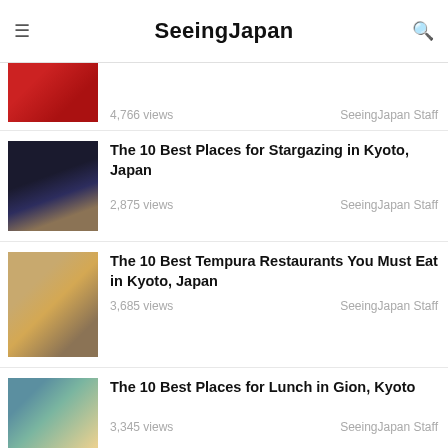SeeingJapan
4,766 views — SeeingJapan Staff (partial, scrolled off top)
The 10 Best Places for Stargazing in Kyoto, Japan
2,875 views
SeeingJapan Staff
The 10 Best Tempura Restaurants You Must Eat in Kyoto, Japan
3,685 views
SeeingJapan Staff
The 10 Best Places for Lunch in Gion, Kyoto
3,345 views
SeeingJapan Staff
The 10 Best Must-Buy Souvenirs in Kyoto, Japan
6,012 views
SeeingJapan Staff